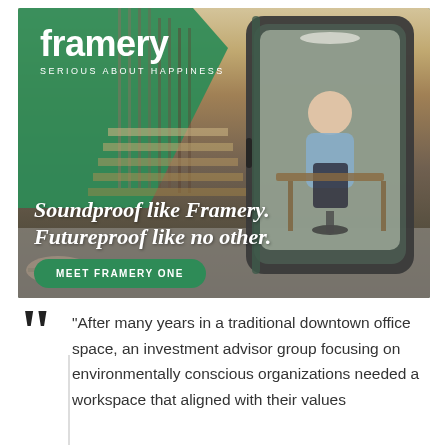[Figure (photo): Framery advertisement showing a soundproof office pod with a woman inside talking on phone, set in a modern office with staircase background. Green polygon shape overlays the top-left corner with the Framery logo and tagline 'SERIOUS ABOUT HAPPINESS'. Headline text reads 'Soundproof like Framery. Futureproof like no other.' with a green CTA button 'MEET FRAMERY ONE'.]
“After many years in a traditional downtown office space, an investment advisor group focusing on environmentally conscious organizations needed a workspace that aligned with their values